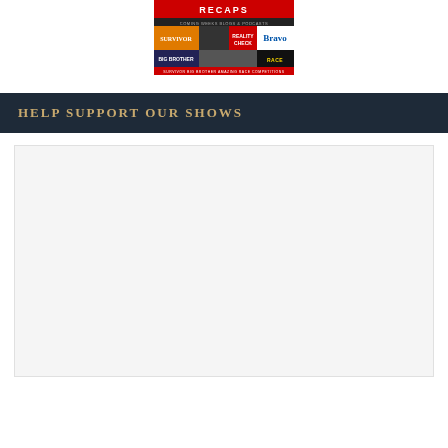[Figure (logo): Reality TV Recaps website logo showing Survivor, Bravo, Big Brother, Amazing Race logos collage]
HELP SUPPORT OUR SHOWS
[Figure (other): Light gray support/donation widget area]